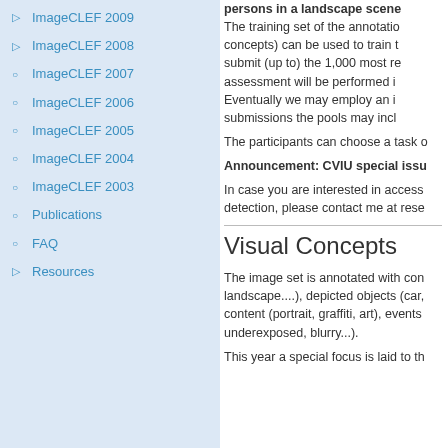ImageCLEF 2009
ImageCLEF 2008
ImageCLEF 2007
ImageCLEF 2006
ImageCLEF 2005
ImageCLEF 2004
ImageCLEF 2003
Publications
FAQ
Resources
persons in a landscape scene The training set of the annotation concepts) can be used to train t submit (up to) the 1,000 most re assessment will be performed i Eventually we may employ an i submissions the pools may incl
The participants can choose a task o
Announcement: CVIU special issu
In case you are interested in access detection, please contact me at rese
Visual Concepts
The image set is annotated with con landscape....), depicted objects (car, content (portrait, graffiti, art), events underexposed, blurry...).
This year a special focus is laid to th